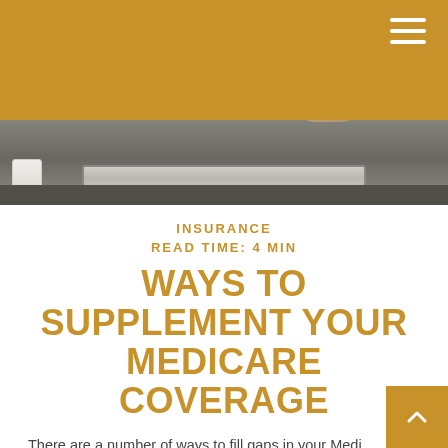[Figure (photo): Person using a tablet/laptop on a desk, with a coffee cup in the background, shot from above at an angle.]
INSURANCE
READ TIME: 4 MIN
WAYS TO SUPPLEMENT YOUR MEDICARE COVERAGE
There are a number of ways to fill gaps in your Medicare coverage and/or to get assistance with Medicare cos…
1. Job-based insurance: If you or your spouse is still…